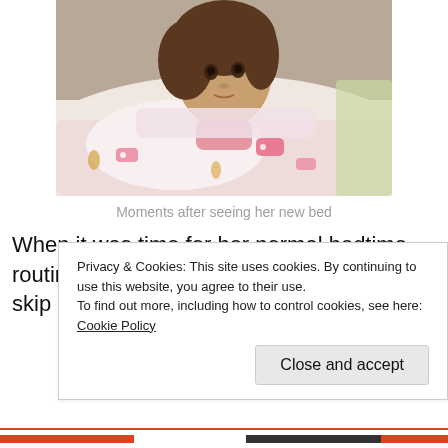[Figure (photo): A young girl lying in bed with pink and white patterned bedding, looking at the camera. She has dark hair and is tucked under the covers.]
Moments after seeing her new bed
When it was time for her normal bedtime routine, after her bath she wanted me to skip straight to the bedtime part.
Privacy & Cookies: This site uses cookies. By continuing to use this website, you agree to their use.
To find out more, including how to control cookies, see here: Cookie Policy
Close and accept